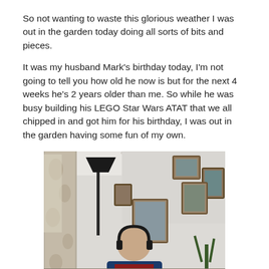So not wanting to waste this glorious weather I was out in the garden today doing all sorts of bits and pieces.
It was my husband Mark's birthday today, I'm not going to tell you how old he now is but for the next 4 weeks he's 2 years older than me. So while he was busy building his LEGO Star Wars ATAT that we all chipped in and got him for his birthday, I was out in the garden having some fun of my own.
[Figure (photo): Indoor photo of a person sitting at a table wearing headphones and a dark blue t-shirt with a red graphic. Behind them are framed family photos on a white wall, floral curtains on the left, a floor lamp, and a tall plant on the right.]